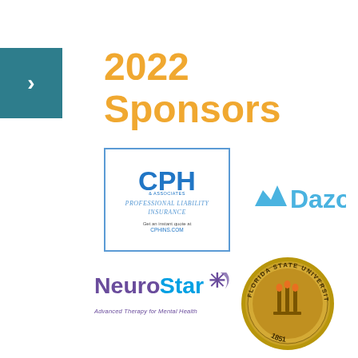2022 Sponsors
[Figure (logo): CPH & Associates Professional Liability Insurance logo in a blue-bordered box with text 'Get an instant quote at CPHINS.COM']
[Figure (logo): Dazos logo with blue mountain/wave icon and 'Dazos' text in blue]
[Figure (logo): NeuroStar Advanced Therapy for Mental Health logo with purple 'Neuro' and blue 'Star' text and star graphic]
[Figure (logo): Florida State University seal, circular gold emblem with torches and '1851']